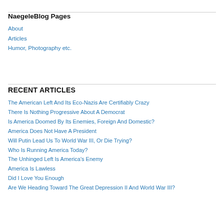NaegeleBlog Pages
About
Articles
Humor, Photography etc.
RECENT ARTICLES
The American Left And Its Eco-Nazis Are Certifiably Crazy
There Is Nothing Progressive About A Democrat
Is America Doomed By Its Enemies, Foreign And Domestic?
America Does Not Have A President
Will Putin Lead Us To World War III, Or Die Trying?
Who Is Running America Today?
The Unhinged Left Is America's Enemy
America Is Lawless
Did I Love You Enough
Are We Heading Toward The Great Depression II And World War III?